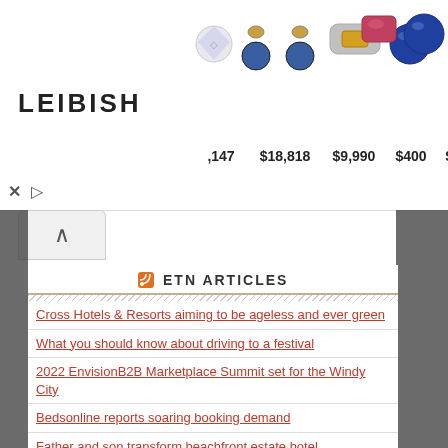[Figure (screenshot): Leibish jewelry/gemstone advertisement banner showing gemstone images and prices: $18,818, $9,990, $400, $400, $283]
ETN ARTICLES
Cross Hotels & Resorts aiming to be ageless and ever green
What you should know about driving to a festival
2022 EnvisionB2B Marketplace Summit set for the Windy City
Bedsonline reports soaring booking demand
Father and son transform beachfront estate hotel